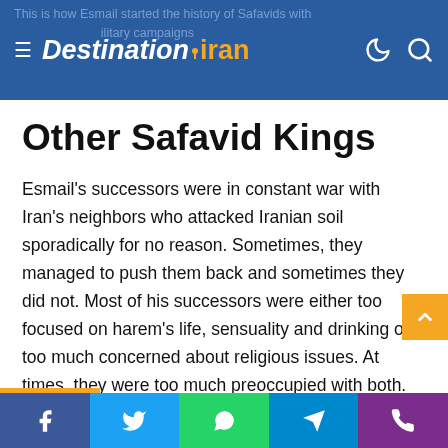DestinationIran
Other Safavid Kings
Esmail's successors were in constant war with Iran's neighbors who attacked Iranian soil sporadically for no reason. Sometimes, they managed to push them back and sometimes they did not. Most of his successors were either too focused on harem's life, sensuality and drinking or too much concerned about religious issues. At times, they were too much preoccupied with both.
The period when Shah Abbas I was on the throne, Safavid government was at the zenith of its glory. Right after he had ascended the throne at the age of 18, h
Facebook Twitter WhatsApp Telegram Phone